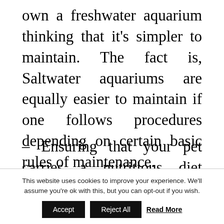own a freshwater aquarium thinking that it's simpler to maintain. The fact is, Saltwater aquariums are equally easier to maintain if one follows procedures depending on certain basic rules of maintenance.
– Ensuring that your pet carries a nutritious diet doesn't need to get an expensive venture
This website uses cookies to improve your experience. We'll assume you're ok with this, but you can opt-out if you wish. Accept Reject All Read More